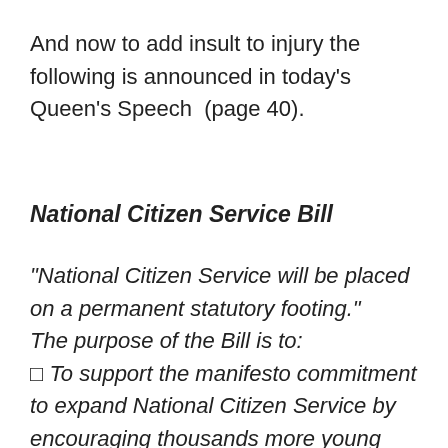And now to add insult to injury the following is announced in today’s Queen’s Speech  (page 40).
National Citizen Service Bill
“National Citizen Service will be placed on a permanent statutory footing.”
The purpose of the Bill is to:
□ To support the manifesto commitment to expand National Citizen Service by encouraging thousands more young people to take advantage of the skillsbuilding